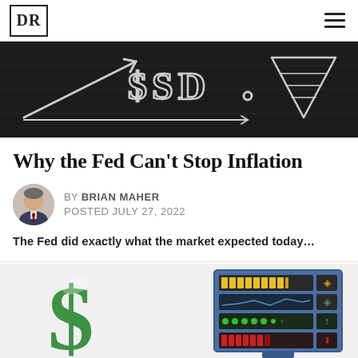DR
[Figure (photo): Blackboard with chalk drawings of dollar signs, arrows, and financial symbols including '$SD' text and upward/downward arrows suggesting inflation concepts]
Why the Fed Can't Stop Inflation
BY BRIAN MAHER
POSTED JULY 27, 2022
The Fed did exactly what the market expected today…
[Figure (illustration): Illustration showing a large green dollar sign symbol on the left and a colorful electronic scoreboard/ticker display on the right with yellow, blue, green and red LED panels]